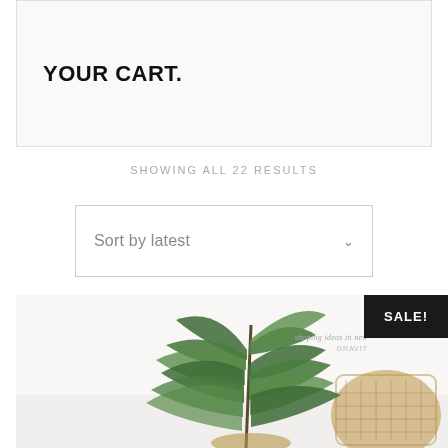YOUR CART.
SHOWING ALL 22 RESULTS
Sort by latest
[Figure (photo): A green tropical plant with long drooping leaves in a wicker basket, photographed against a white background. A 'SALE!' badge appears in the top right corner of the image.]